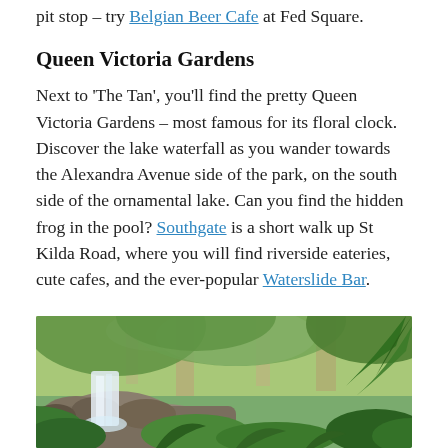pit stop – try Belgian Beer Cafe at Fed Square.
Queen Victoria Gardens
Next to 'The Tan', you'll find the pretty Queen Victoria Gardens – most famous for its floral clock. Discover the lake waterfall as you wander towards the Alexandra Avenue side of the park, on the south side of the ornamental lake. Can you find the hidden frog in the pool? Southgate is a short walk up St Kilda Road, where you will find riverside eateries, cute cafes, and the ever-popular Waterslide Bar.
[Figure (photo): A waterfall cascading over mossy rocks surrounded by lush green ferns, bamboo, and large trees in Queen Victoria Gardens, Melbourne.]